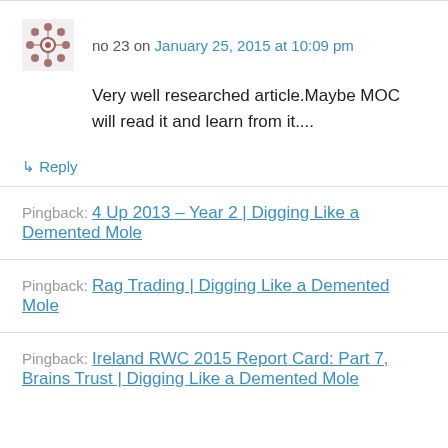no 23 on January 25, 2015 at 10:09 pm
Very well researched article.Maybe MOC will read it and learn from it....
↳ Reply
Pingback: 4 Up 2013 – Year 2 | Digging Like a Demented Mole
Pingback: Rag Trading | Digging Like a Demented Mole
Pingback: Ireland RWC 2015 Report Card: Part 7, Brains Trust | Digging Like a Demented Mole